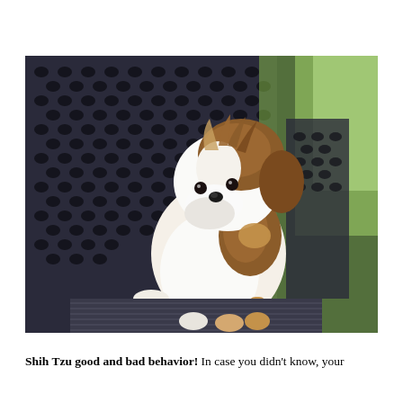[Figure (photo): A small Shih Tzu puppy with white and brown fur sitting on a dark wicker chair outdoors, with a blurred green background.]
Shih Tzu good and bad behavior! In case you didn't know, your